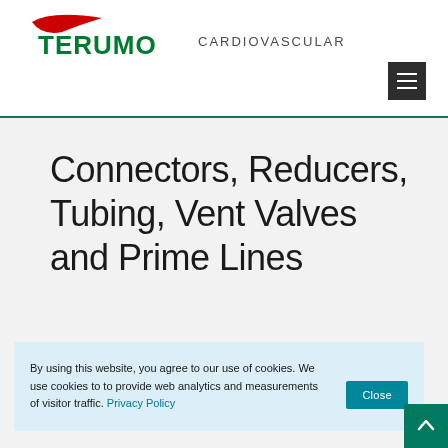[Figure (logo): Terumo Cardiovascular logo — red swoosh above green TERUMO text, followed by CARDIOVASCULAR in gray]
[Figure (other): Dark gray hamburger menu button with three white horizontal lines]
Connectors, Reducers, Tubing, Vent Valves and Prime Lines
By using this website, you agree to our use of cookies. We use cookies to to provide web analytics and measurements of visitor traffic. Privacy Policy